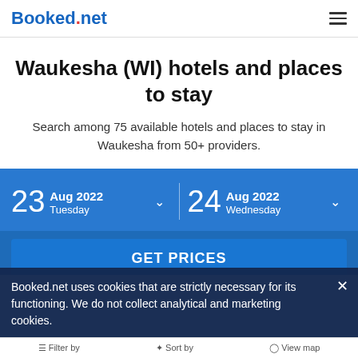Booked.net
Waukesha (WI) hotels and places to stay
Search among 75 available hotels and places to stay in Waukesha from 50+ providers.
23 Aug 2022 Tuesday | 24 Aug 2022 Wednesday
GET PRICES
Booked.net uses cookies that are strictly necessary for its functioning. We do not collect analytical and marketing cookies.
Filter by   Sort by   View map